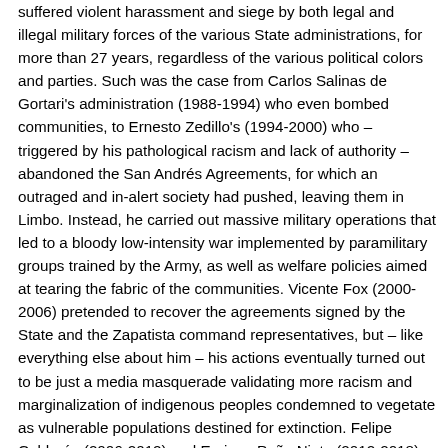suffered violent harassment and siege by both legal and illegal military forces of the various State administrations, for more than 27 years, regardless of the various political colors and parties. Such was the case from Carlos Salinas de Gortari's administration (1988-1994) who even bombed communities, to Ernesto Zedillo's (1994-2000) who – triggered by his pathological racism and lack of authority – abandoned the San Andrés Agreements, for which an outraged and in-alert society had pushed, leaving them in Limbo. Instead, he carried out massive military operations that led to a bloody low-intensity war implemented by paramilitary groups trained by the Army, as well as welfare policies aimed at tearing the fabric of the communities. Vicente Fox (2000-2006) pretended to recover the agreements signed by the State and the Zapatista command representatives, but – like everything else about him – his actions eventually turned out to be just a media masquerade validating more racism and marginalization of indigenous peoples condemned to vegetate as vulnerable populations destined for extinction. Felipe Calderón (2006-2012) and Enrique Peña Nieto (2012-2018) led the war throughout the country, while they continued to corner, attack